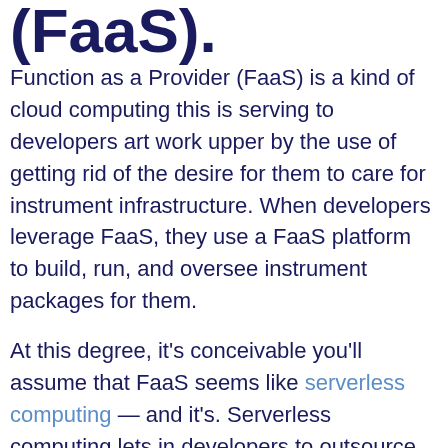(FaaS).
Function as a Provider (FaaS) is a kind of cloud computing this is serving to developers art work upper by the use of getting rid of the desire for them to care for instrument infrastructure. When developers leverage FaaS, they use a FaaS platform to build, run, and oversee instrument packages for them.
At this degree, it's conceivable you'll assume that FaaS seems like serverless computing — and it's. Serverless computing lets in developers to outsource managing databases, API gateways, storage, messaging, and other infrastructure to a third-party provider. FaaS is a type of